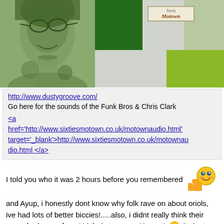[Figure (photo): Album cover collage showing a green-tinted woman's face on the left, dark green rectangle, Tamla Motown label badge, pale green color block top right, and a lime green rectangle bottom right, on a grey background.]
http://www.dustygroove.com/
Go here for the sounds of the Funk Bros & Chris Clark
<a href='http://www.sixtiesmotown.co.uk/motownaudio.html' target='_blank'>http://www.sixtiesmotown.co.uk/motownaudio.html </a>
I told you who it was 2 hours before you remembered
and Ayup, i honestly dont know why folk rave on about oriols, ive had lots of better biccies!.....also, i didnt really think their name had come from Uriels 1st name....Honest! its just so similar sounding isnt it.